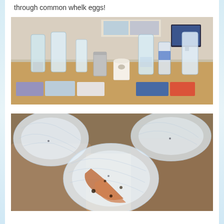through common whelk eggs!
[Figure (photo): Classroom table with multiple plastic bottles filled with water and various packaged products (wipes, paper towel roll, tissue packs) laid out as part of a science activity.]
[Figure (photo): Close-up photograph of common whelk eggs — translucent, bubble-like egg cases clustered together with orange/sandy textured material visible between them.]